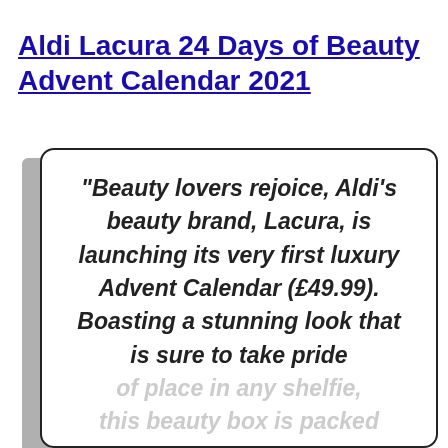Aldi Lacura 24 Days of Beauty Advent Calendar 2021
“Beauty lovers rejoice, Aldi’s beauty brand, Lacura, is launching its very first luxury Advent Calendar (£49.99). Boasting a stunning look that is sure to take pride of place in any shelfie, this beauty box is packed